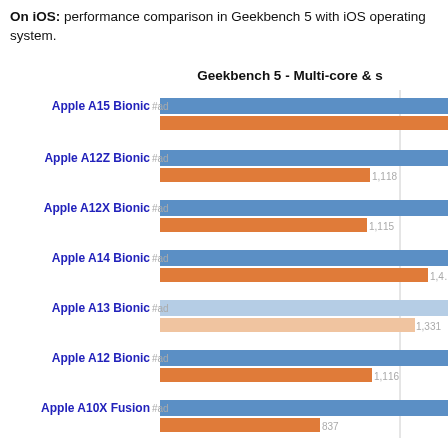On iOS: performance comparison in Geekbench 5 with iOS operating system.
[Figure (grouped-bar-chart): Geekbench 5 - Multi-core & s]